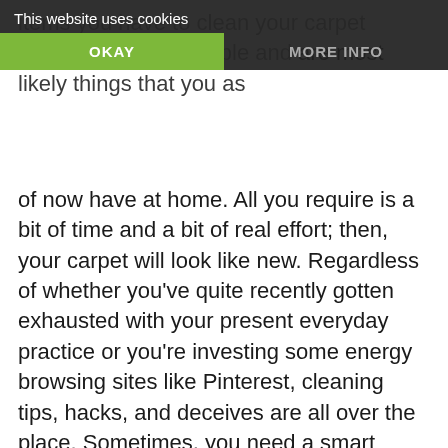[Figure (screenshot): Cookie consent banner overlay with 'This website uses cookies' text, an OKAY button (green) and MORE INFO button (grey) on dark background]
items you have to clean your carpet by hand are reasonable and are most likely things that you as of now have at home. All you require is a bit of time and a bit of real effort; then, your carpet will look like new. Regardless of whether you've quite recently gotten exhausted with your present everyday practice or you're investing some energy browsing sites like Pinterest, cleaning tips, hacks, and deceives are all over the place. Sometimes, you need a smart thought for an especially difficult stain or suggestions on when it's an excellent opportunity to profound clean your area rugs.
Rug cleaning isn't generally the most exciting thing on the planet, so utilizing some new plans to shake things up can be an incredible method to remain persuaded. Dealing with your area rugs is a genuinely essential task in your home cleaning schedule. The cleaner you can keep your rugs, the better.